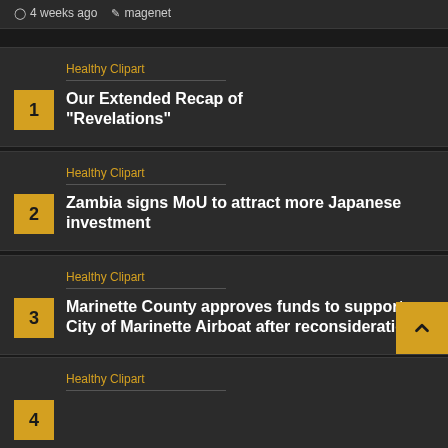4 weeks ago   magenet
Healthy Clipart
Our Extended Recap of “Revelations”
Healthy Clipart
Zambia signs MoU to attract more Japanese investment
Healthy Clipart
Marinette County approves funds to support City of Marinette Airboat after reconsideration
Healthy Clipart